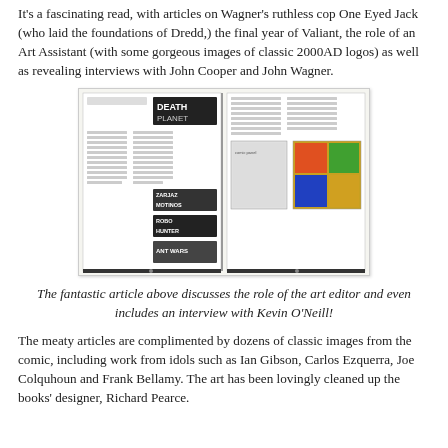It's a fascinating read, with articles on Wagner's ruthless cop One Eyed Jack (who laid the foundations of Dredd,) the final year of Valiant, the role of an Art Assistant (with some gorgeous images of classic 2000AD logos) as well as revealing interviews with John Cooper and John Wagner.
[Figure (photo): A photo of an open book spread showing pages about Death Planet and Robo Hunter, with comic strip images including colorful panels on the right page.]
The fantastic article above discusses the role of the art editor and even includes an interview with Kevin O'Neill!
The meaty articles are complimented by dozens of classic images from the comic, including work from idols such as Ian Gibson, Carlos Ezquerra, Joe Colquhoun and Frank Bellamy. The art has been lovingly cleaned up the books' designer, Richard Pearce.